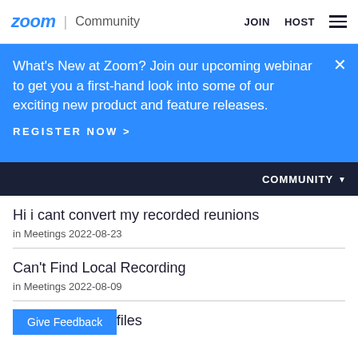zoom | Community    JOIN   HOST
What's New at Zoom? Join our upcoming webinar to get you a first-hand look into some of our exciting new product and feature releases.
REGISTER NOW >
COMMUNITY ▼
Hi i cant convert my recorded reunions
in Meetings 2022-08-23
Can't Find Local Recording
in Meetings 2022-08-09
Vi... files
Give Feedback